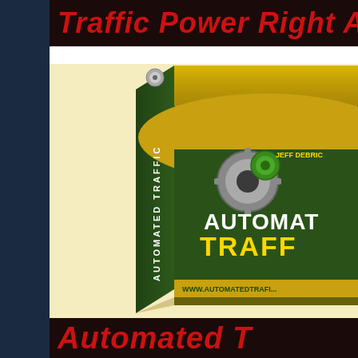Traffic Power Right At Y
[Figure (illustration): 3D software box product image for 'Automated Traffic' by Jeff Dedrick. Box has dark green and gold color scheme with a gear/cog logo icon. Side spine reads 'AUTOMATED TRAFFIC' vertically. Front face shows gear icon, 'JEFF DEDRICK' text, 'AUTOMATED TRAFFIC' branding in gold, and 'WWW.AUTOMATEDTRAFI...' at the bottom.]
Automated T